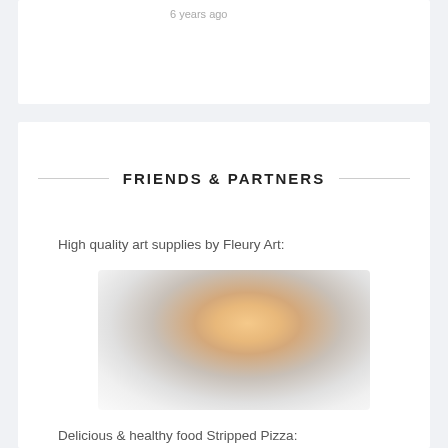6 years ago
FRIENDS & PARTNERS
High quality art supplies by Fleury Art:
[Figure (photo): Blurred/obscured image of art supplies by Fleury Art]
Delicious & healthy food Stripped Pizza:
[Figure (photo): Blurred/obscured image related to Stripped Pizza]